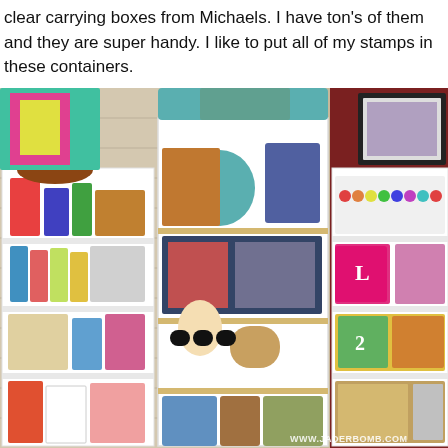clear carrying boxes from Michaels. I have ton's of them and they are super handy. I like to put all of my stamps in these containers.
[Figure (photo): Interior of a craft store or craft room showing three large white shelving units filled with various craft supplies, decorative items, baskets, bags, markers, stamps, and seasonal decorations. A watermark reads www.jaderbomb.com.]